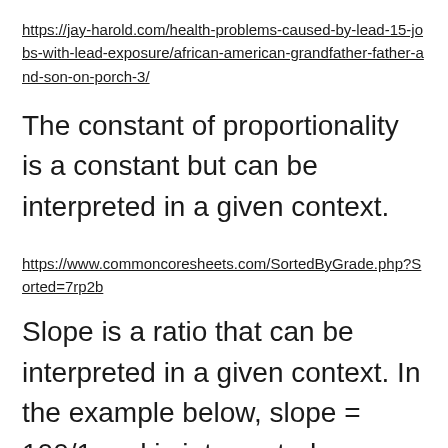https://jay-harold.com/health-problems-caused-by-lead-15-jobs-with-lead-exposure/african-american-grandfather-father-and-son-on-porch-3/
The constant of proportionality is a constant but can be interpreted in a given context.
https://www.commoncoresheets.com/SortedByGrade.php?Sorted=7rp2b
Slope is a ratio that can be interpreted in a given context. In the example below, slope = 100/1 and is interpreted as a rate